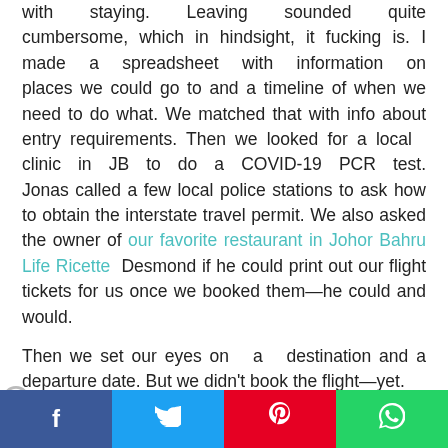with staying. Leaving sounded quite cumbersome, which in hindsight, it fucking is. I made a spreadsheet with information on places we could go to and a timeline of when we need to do what. We matched that with info about entry requirements. Then we looked for a local clinic in JB to do a COVID-19 PCR test. Jonas called a few local police stations to ask how to obtain the interstate travel permit. We also asked the owner of our favorite restaurant in Johor Bahru Life Ricette Desmond if he could print out our flight tickets for us once we booked them—he could and would.
Then we set our eyes on a destination and a departure date. But we didn't book the flight—yet.
None of this was super complicated. The stupides...